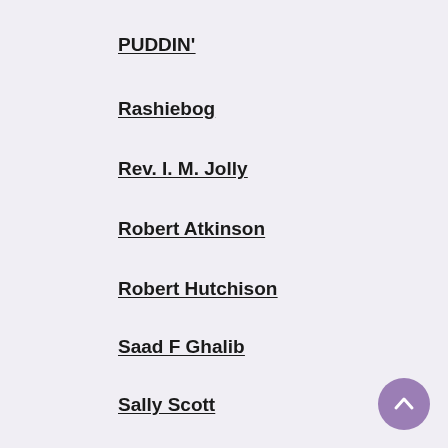PUDDIN'
Rashiebog
Rev. I. M. Jolly
Robert Atkinson
Robert Hutchison
Saad F Ghalib
Sally Scott
Scipio
Shane Mac Thomáis